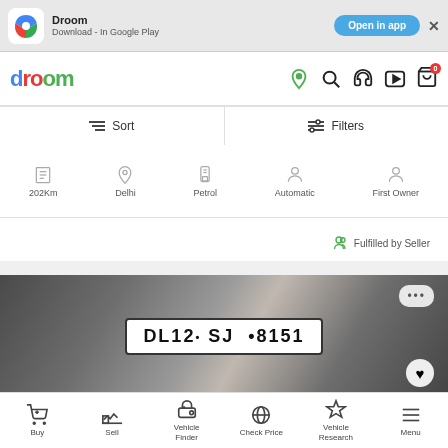[Figure (screenshot): Droom app banner with icon, app name 'Droom', 'Download - In Google Play', 'Open in app' button, and close X button]
[Figure (logo): Droom logo in colorful letters: d(blue) r(red) o(red) o(green) m(green)]
Sort
Filters
202Km
Delhi
Petrol
Automatic
First Owner
Fulfilled by Seller
[Figure (photo): Close-up photo of a vehicle number plate reading 'DL12- SJ +8151' with three-dot menu and heart/favorite button overlaid]
Buy
Sell
Vehicle Finder
Check Price
Vehicle Research
Menu